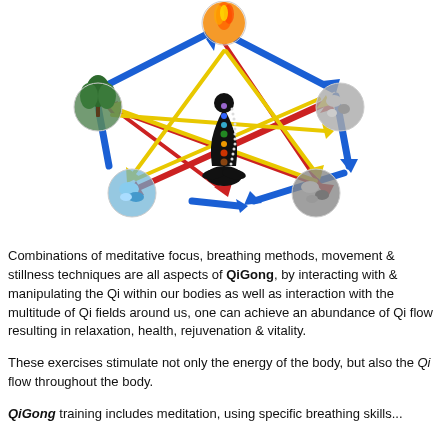[Figure (infographic): A circular diagram showing a meditating human silhouette with chakra points at the center, surrounded by five elemental circles (fire at top, trees/wood at left, stone/metal at right, water/ice at bottom-left, earth/metal at bottom-right) connected by overlapping pentagram arrows in blue, red, and yellow indicating cycles and interactions of Qi energy fields.]
Combinations of meditative focus, breathing methods, movement & stillness techniques are all aspects of QiGong, by interacting with & manipulating the Qi within our bodies as well as interaction with the multitude of Qi fields around us, one can achieve an abundance of Qi flow resulting in relaxation, health, rejuvenation & vitality.
These exercises stimulate not only the energy of the body, but also the Qi flow throughout the body.
QiGong training includes meditation, using specific breathing skills...